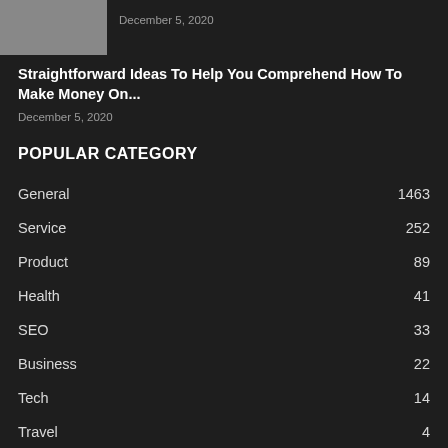[Figure (photo): Gray thumbnail image placeholder]
December 5, 2020
Straightforward Ideas To Help You Comprehend How To Make Money On...
December 5, 2020
POPULAR CATEGORY
General 1463
Service 252
Product 89
Health 41
SEO 33
Business 22
Tech 14
Travel 4